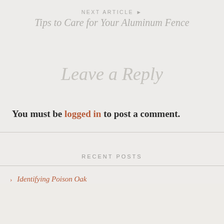NEXT ARTICLE ▶
Tips to Care for Your Aluminum Fence
Leave a Reply
You must be logged in to post a comment.
RECENT POSTS
Identifying Poison Oak